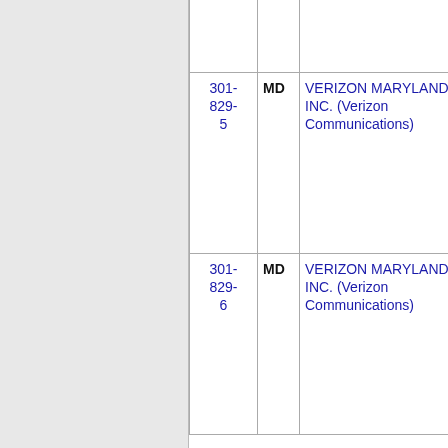| Phone | State | Company | ZIP | City |
| --- | --- | --- | --- | --- |
| 301-829-5 | MD | VERIZON MARYLAND, INC. (Verizon Communications) | 9212 | MOUNT AIRY |
| 301-829-6 | MD | VERIZON MARYLAND, INC. (Verizon Communications) | 9212 | MOUNT AIRY |